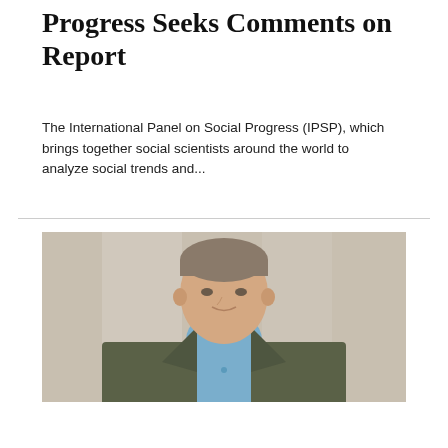Progress Seeks Comments on Report
The International Panel on Social Progress (IPSP), which brings together social scientists around the world to analyze social trends and...
[Figure (photo): Portrait photo of a man in a grey-green blazer and blue shirt, photographed from chest up, smiling slightly, with a light background.]
News   SEP 14 2016